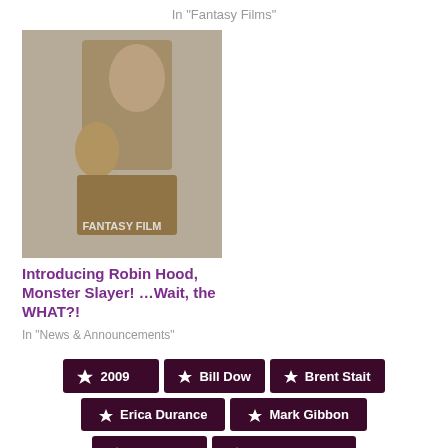In "Fantasy Films"
[Figure (photo): Movie poster for a fantasy/adventure film featuring dramatic characters]
Introducing Robin Hood, Monster Slayer! …Wait, the WHAT?!
In "News & Announcements"
2009
Bill Dow
Brent Stait
Erica Durance
Mark Gibbon
Monsters
Peter DeLuise
Richard De Klerk
Robin Dunne